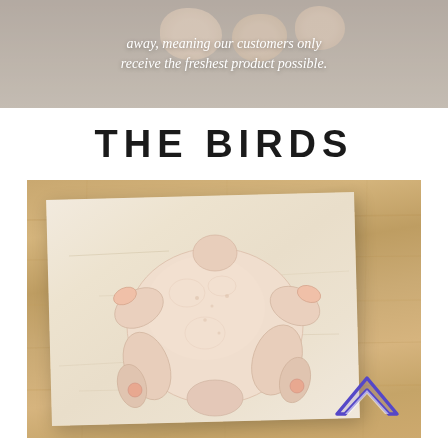[Figure (photo): Top portion of page showing raw chicken pieces on white background with italic text overlay reading 'away, meaning our customers only receive the freshest product possible.']
away, meaning our customers only receive the freshest product possible.
THE BIRDS
[Figure (photo): Raw whole chicken laid on crinkled butcher/parchment paper on a wooden cutting board surface. A purple/blue chevron arrow watermark is visible in the bottom right corner of the image.]